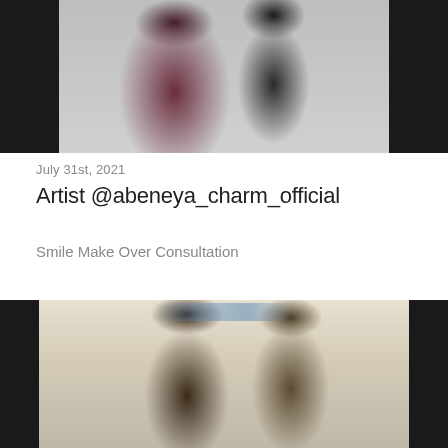[Figure (photo): Two people posing together inside a clinic. A man wearing a maroon shirt with a green lanyard/ID badge stands on the left, and a young woman in a black outfit with long wavy dark hair stands on the right. Dental treatment posters are visible in the background.]
July 31st, 2021
Artist @abeneya_charm_official
Smile Make Over Consultation
[Figure (photo): Two men posing together inside a clinic. One man has a beard and is wearing a shirt; the other is younger with a beard and wearing a light-colored shirt. Hair treatment and dental treatment posters are visible in the background.]